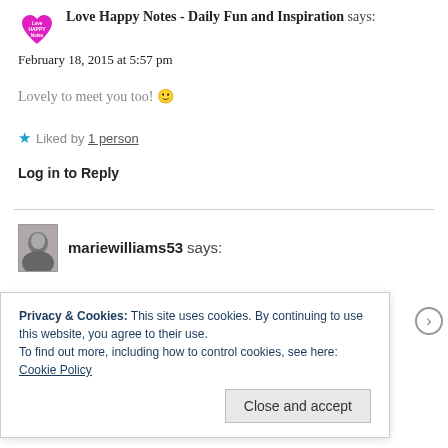[Figure (illustration): Pink heart-shaped avatar with 'Love HAPPY Notes' text in white, used as user profile icon]
Love Happy Notes - Daily Fun and Inspiration says:
February 18, 2015 at 5:57 pm
Lovely to meet you too! 🙂
★ Liked by 1 person
Log in to Reply
[Figure (photo): Black and white photo avatar of mariewilliams53]
mariewilliams53 says:
Privacy & Cookies: This site uses cookies. By continuing to use this website, you agree to their use.
To find out more, including how to control cookies, see here: Cookie Policy
Close and accept